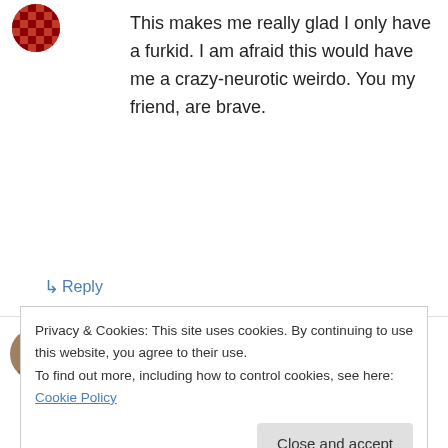This makes me really glad I only have a furkid. I am afraid this would have me a crazy-neurotic weirdo. You my friend, are brave.
↳ Reply
motherhoodisanart on February 25, 2013 at 5:58 PM
Funny Stuff!
↳ Reply
Privacy & Cookies: This site uses cookies. By continuing to use this website, you agree to their use.
To find out more, including how to control cookies, see here: Cookie Policy
Close and accept
You know it! 😉